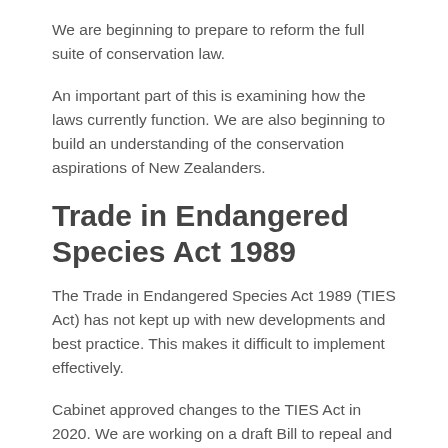We are beginning to prepare to reform the full suite of conservation law.
An important part of this is examining how the laws currently function. We are also beginning to build an understanding of the conservation aspirations of New Zealanders.
Trade in Endangered Species Act 1989
The Trade in Endangered Species Act 1989 (TIES Act) has not kept up with new developments and best practice. This makes it difficult to implement effectively.
Cabinet approved changes to the TIES Act in 2020. We are working on a draft Bill to repeal and replace the TIES Act.
Cabinet material about the Trade in Endangered Species